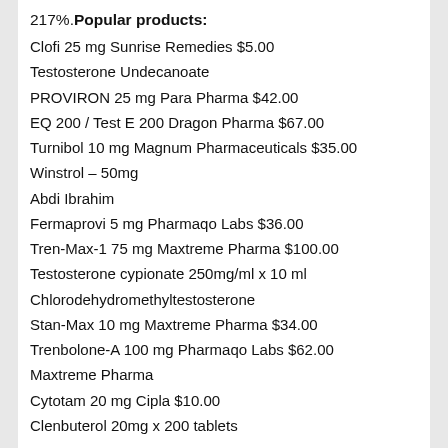217%. Popular products:
Clofi 25 mg Sunrise Remedies $5.00
Testosterone Undecanoate
PROVIRON 25 mg Para Pharma $42.00
EQ 200 / Test E 200 Dragon Pharma $67.00
Turnibol 10 mg Magnum Pharmaceuticals $35.00
Winstrol – 50mg
Abdi Ibrahim
Fermaprovi 5 mg Pharmaqo Labs $36.00
Tren-Max-1 75 mg Maxtreme Pharma $100.00
Testosterone cypionate 250mg/ml x 10 ml
Chlorodehydromethyltestosterone
Stan-Max 10 mg Maxtreme Pharma $34.00
Trenbolone-A 100 mg Pharmaqo Labs $62.00
Maxtreme Pharma
Cytotam 20 mg Cipla $10.00
Clenbuterol 20mg x 200 tablets
Testopin 100 Para Pharma $44.00